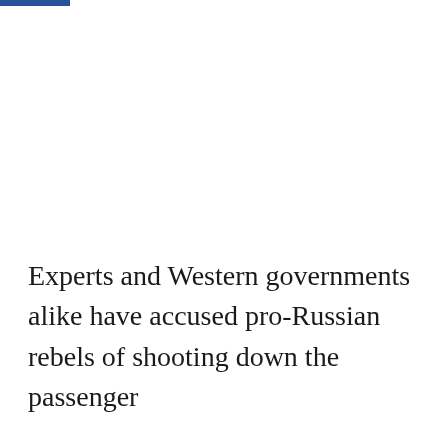Experts and Western governments alike have accused pro-Russian rebels of shooting down the passenger